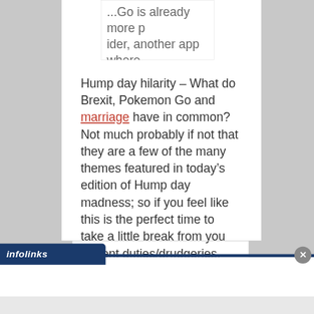... Go is already more p ider, another app where ) find monsters in your
Hump day hilarity – What do Brexit, Pokemon Go and marriage have in common? Not much probably if not that they are a few of the many themes featured in today's edition of Hump day madness; so if you feel like this is the perfect time to take a little break from you current duties/drudgeries, please feel free to check ... Read More »
[Figure (screenshot): Infolinks advertisement bar and close button overlay at bottom of page]